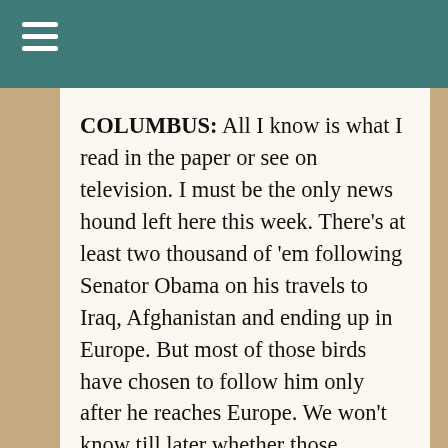COLUMBUS: All I know is what I read in the paper or see on television. I must be the only news hound left here this week. There’s at least two thousand of ‘em following Senator Obama on his travels to Iraq, Afghanistan and ending up in Europe. But most of those birds have chosen to follow him only after he reaches Europe. We won’t know till later whether those journalists are on assignment or on vacation. It’s probably for the best that they stay out of Iraq. The Shiites and Sunnis are finally talking instead of shooting at each other, so we don’t need our television reporters to go there and rile